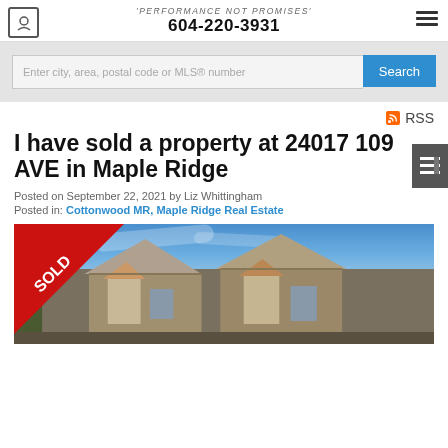'PERFORMANCE NOT PROMISES' 604-220-3931
Enter city, area, postal code or MLS® number
RSS
I have sold a property at 24017 109 AVE in Maple Ridge
Posted on September 22, 2021 by Liz Whittingham
Posted in: Cottonwood MR, Maple Ridge Real Estate
[Figure (photo): Exterior photo of a sold property at 24017 109 AVE in Maple Ridge, showing residential houses against a blue sky with a red SOLD ribbon overlay in the top-left corner]